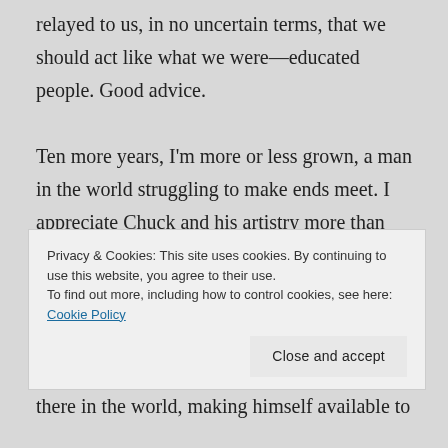relayed to us, in no uncertain terms, that we should act like what we were—educated people. Good advice.

Ten more years, I'm more or less grown, a man in the world struggling to make ends meet. I appreciate Chuck and his artistry more than ever. There was a time when I didn't rate Chuck very highly as an MC, but I was using all the wrong criteria. I underestimated what he said and how he said it. As brilliant as the ideas
Privacy & Cookies: This site uses cookies. By continuing to use this website, you agree to their use.
To find out more, including how to control cookies, see here: Cookie Policy
there in the world, making himself available to